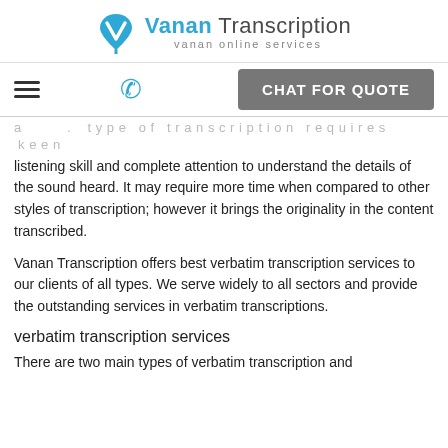[Figure (logo): Vanan Transcription logo with blue V icon and text 'Vanan Transcription' and subtitle 'vanan online services']
≡  📞  CHAT FOR QUOTE
listening skill and complete attention to understand the details of the sound heard. It may require more time when compared to other styles of transcription; however it brings the originality in the content transcribed.
Vanan Transcription offers best verbatim transcription services to our clients of all types. We serve widely to all sectors and provide the outstanding services in verbatim transcriptions.
verbatim transcription services
There are two main types of verbatim transcription and